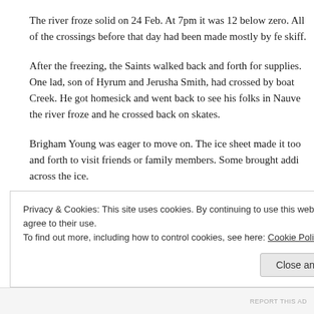The river froze solid on 24 Feb. At 7pm it was 12 below zero. All of the crossings before that day had been made mostly by fe… skiff.
After the freezing, the Saints walked back and forth for supplies. One lad, son of Hyrum and Jerusha Smith, had crossed by boat … Creek. He got homesick and went back to see his folks in Nauv… the river froze and he crossed back on skates.
Brigham Young was eager to move on. The ice sheet made it too… and forth to visit friends or family members. Some brought addi… across the ice.
Privacy & Cookies: This site uses cookies. By continuing to use this website, you agree to their use.
To find out more, including how to control cookies, see here: Cookie Policy